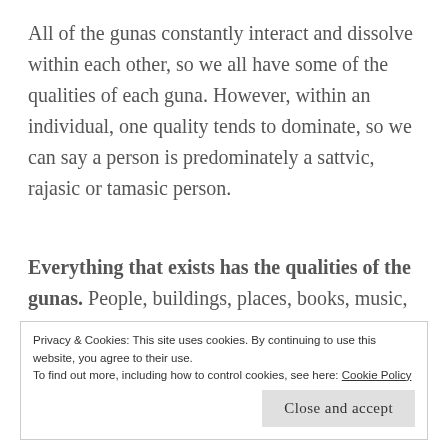All of the gunas constantly interact and dissolve within each other, so we all have some of the qualities of each guna. However, within an individual, one quality tends to dominate, so we can say a person is predominately a sattvic, rajasic or tamasic person.
Everything that exists has the qualities of the gunas. People, buildings, places, books, music, movies, jobs, exercise, food, thoughts, feelings, bodies, TV shows, websites and everything that
Privacy & Cookies: This site uses cookies. By continuing to use this website, you agree to their use.
To find out more, including how to control cookies, see here: Cookie Policy
Close and accept